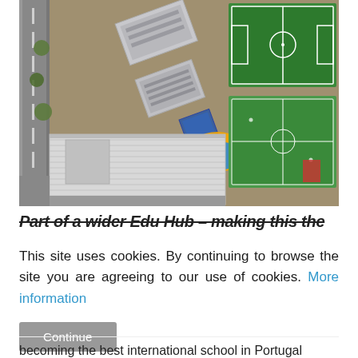[Figure (photo): Aerial drone photograph of a school campus showing buildings with metallic roofs, a green football/soccer pitch with white markings, sports courts, colorful playground area with blue and yellow markings, surrounding streets and trees, shot from directly above.]
Part of a wider Edu Hub – making this the
This site uses cookies. By continuing to browse the site you are agreeing to our use of cookies. More information
becoming the best international school in Portugal